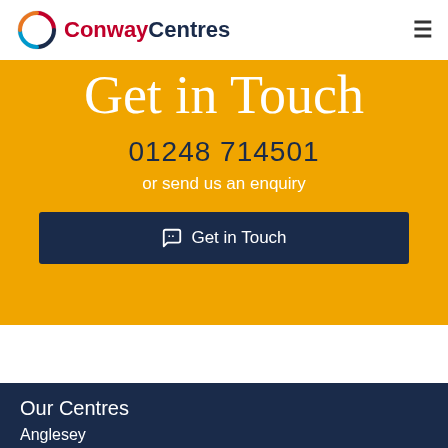[Figure (logo): Conway Centres logo with circular icon and text]
Get in Touch
01248 714501
or send us an enquiry
Get in Touch
Our Centres
Anglesey